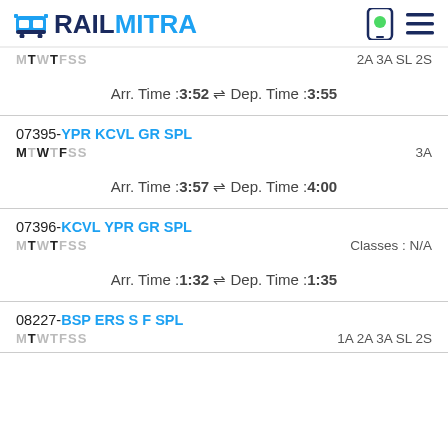RAILMITRA
MTWTFSS  2A 3A SL 2S
Arr. Time :3:52  ⇌  Dep. Time :3:55
07395-YPR KCVL GR SPL
MTWTFSS  3A
Arr. Time :3:57  ⇌  Dep. Time :4:00
07396-KCVL YPR GR SPL
MTWTFSS  Classes : N/A
Arr. Time :1:32  ⇌  Dep. Time :1:35
08227-BSP ERS S F SPL
MTWTFSS  1A 2A 3A SL 2S